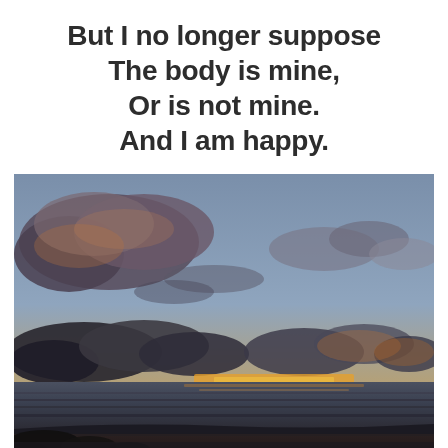But I no longer suppose
The body is mine,
Or is not mine.
And I am happy.
[Figure (photo): Photograph of a beach sunset scene. Dramatic clouds fill the upper portion of the sky, some with warm orange and pink tones. The horizon shows a glowing strip of orange-yellow light reflecting on the ocean. Dark silhouetted rocks and wet sand are visible in the foreground.]